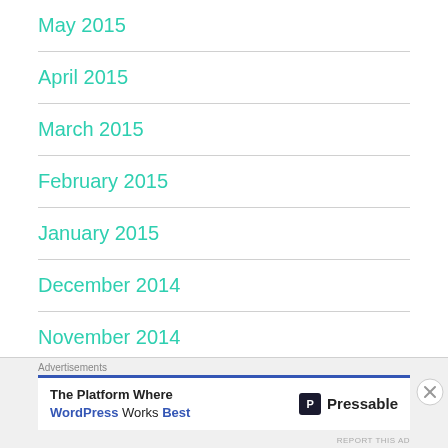May 2015
April 2015
March 2015
February 2015
January 2015
December 2014
November 2014
Advertisements
The Platform Where WordPress Works Best — Pressable